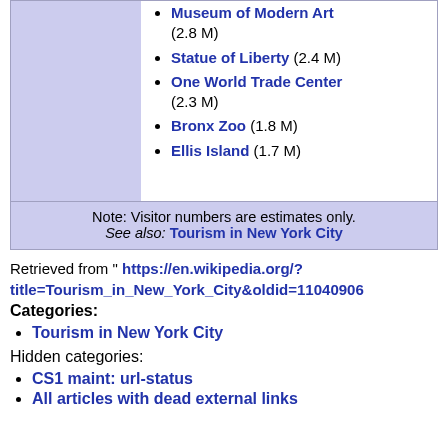Museum of Modern Art (2.8 M)
Statue of Liberty (2.4 M)
One World Trade Center (2.3 M)
Bronx Zoo (1.8 M)
Ellis Island (1.7 M)
Note: Visitor numbers are estimates only. See also: Tourism in New York City
Retrieved from " https://en.wikipedia.org/?title=Tourism_in_New_York_City&oldid=11040906
Categories:
Tourism in New York City
Hidden categories:
CS1 maint: url-status
All articles with dead external links